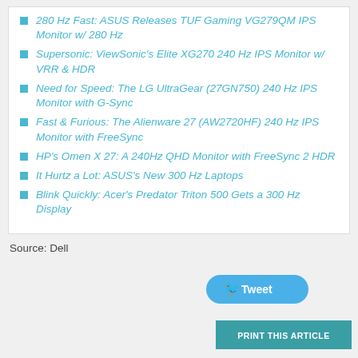280 Hz Fast: ASUS Releases TUF Gaming VG279QM IPS Monitor w/ 280 Hz
Supersonic: ViewSonic's Elite XG270 240 Hz IPS Monitor w/ VRR & HDR
Need for Speed: The LG UltraGear (27GN750) 240 Hz IPS Monitor with G-Sync
Fast & Furious: The Alienware 27 (AW2720HF) 240 Hz IPS Monitor with FreeSync
HP's Omen X 27: A 240Hz QHD Monitor with FreeSync 2 HDR
It Hurtz a Lot: ASUS's New 300 Hz Laptops
Blink Quickly: Acer's Predator Triton 500 Gets a 300 Hz Display
Source: Dell
[Figure (other): Tweet button]
[Figure (other): Print This Article button]